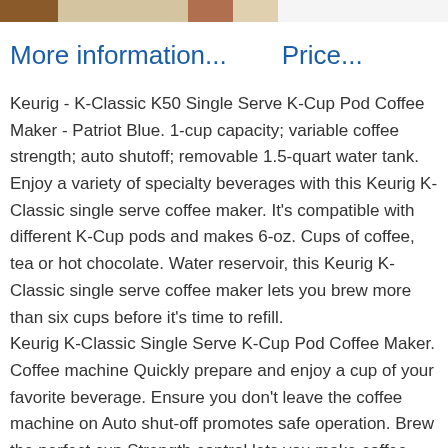[Figure (photo): Partial top strip showing product images of Keurig coffee makers]
More information...    Price...
Keurig - K-Classic K50 Single Serve K-Cup Pod Coffee Maker - Patriot Blue. 1-cup capacity; variable coffee strength; auto shutoff; removable 1.5-quart water tank. Enjoy a variety of specialty beverages with this Keurig K-Classic single serve coffee maker. It's compatible with different K-Cup pods and makes 6-oz. Cups of coffee, tea or hot chocolate. Water reservoir, this Keurig K-Classic single serve coffee maker lets you brew more than six cups before it's time to refill.
Keurig K-Classic Single Serve K-Cup Pod Coffee Maker. Coffee machine Quickly prepare and enjoy a cup of your favorite beverage. Ensure you don't leave the coffee machine on Auto shut-off promotes safe operation. Brew the perfect cup Strength control lets you make coffee that